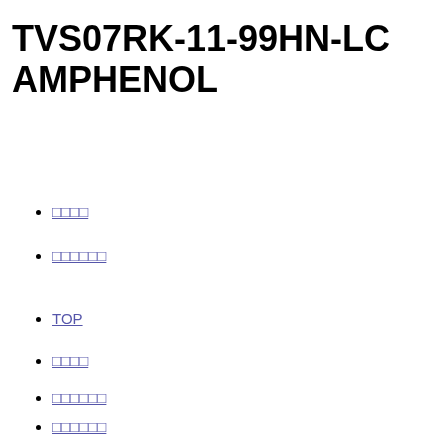TVS07RK-11-99HN-LC AMPHENOL
□□□□
□□□□□□
TOP
□□□□
□□□□□□
□□□□□□